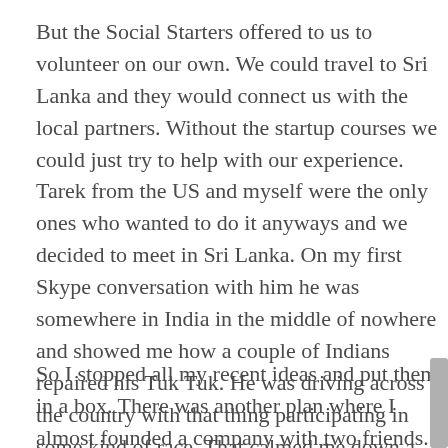But the Social Starters offered to us to volunteer on our own. We could travel to Sri Lanka and they would connect us with the local partners. Without the startup courses we could just try to help with our experience. Tarek from the US and myself were the only ones who wanted to do it anyways and we decided to meet in Sri Lanka. On my first Skype conversation with him he was somewhere in India in the middle of nowhere and showed me how a couple of Indians repaired his Tuk Tuk. He was driving across the country with that thing participating in some kind of race. That calmed me down a bit, that I'm not the only crazy person going there...
So I stopped all my recent ideas and put them in a box. There was another plan where I almost founded a company with two friends. I do not want to reveal